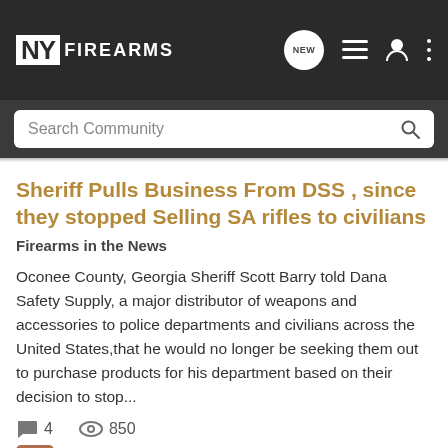NY FIREARMS — navigation bar with search
Sheriff Pulls Business From DSS , since they stopped Selling SA rifles to civilians
Firearms in the News
Oconee County, Georgia Sheriff Scott Barry told Dana Safety Supply, a major distributor of weapons and accessories to police departments and civilians across the United States,that he would no longer be seeking them out to purchase products for his department based on their decision to stop...
4  850
Zman · Jan 6, 2013
business
civilians
dss
pulls
rifles
selling
sheriff
stopped